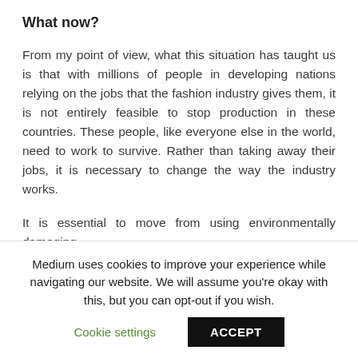What now?
From my point of view, what this situation has taught us is that with millions of people in developing nations relying on the jobs that the fashion industry gives them, it is not entirely feasible to stop production in these countries. These people, like everyone else in the world, need to work to survive. Rather than taking away their jobs, it is necessary to change the way the industry works.
It is essential to move from using environmentally damaging
Medium uses cookies to improve your experience while navigating our website. We will assume you're okay with this, but you can opt-out if you wish.
Cookie settings
ACCEPT